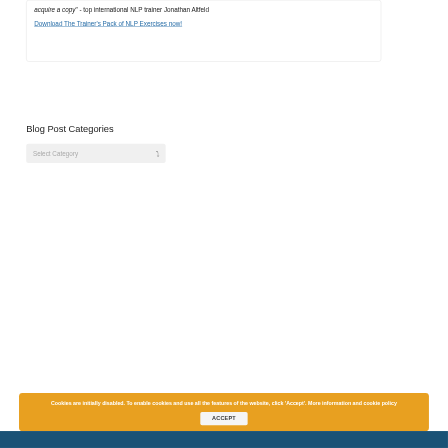acquire a copy" - top international NLP trainer Jonathan Altfeld
Download The Trainer's Pack of NLP Exercises now!
Blog Post Categories
Select Category
Cookies are initially disabled. To enable cookies and use all the features of the website, click 'Accept'. More information and cookie policy   ACCEPT